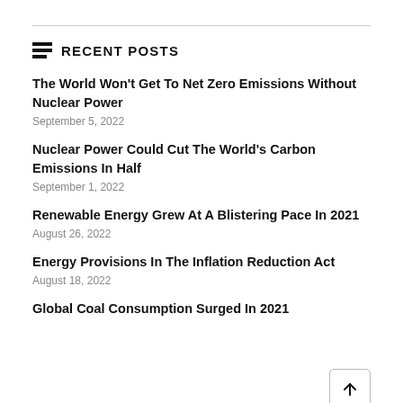RECENT POSTS
The World Won't Get To Net Zero Emissions Without Nuclear Power
September 5, 2022
Nuclear Power Could Cut The World's Carbon Emissions In Half
September 1, 2022
Renewable Energy Grew At A Blistering Pace In 2021
August 26, 2022
Energy Provisions In The Inflation Reduction Act
August 18, 2022
Global Coal Consumption Surged In 2021